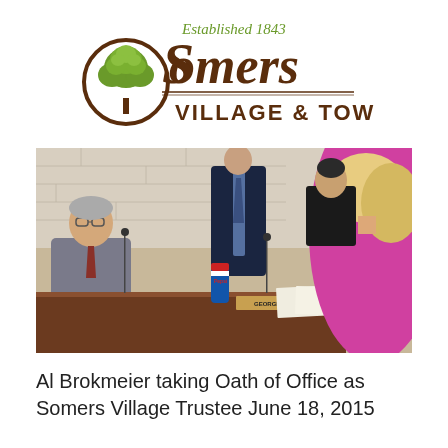[Figure (logo): Somers Village & Town logo with tree icon and text 'Established 1843']
[Figure (photo): Photo of Al Brokmeier taking Oath of Office as Somers Village Trustee, seated at a meeting table with others present, including a person in a pink top]
Al Brokmeier taking Oath of Office as Somers Village Trustee June 18, 2015